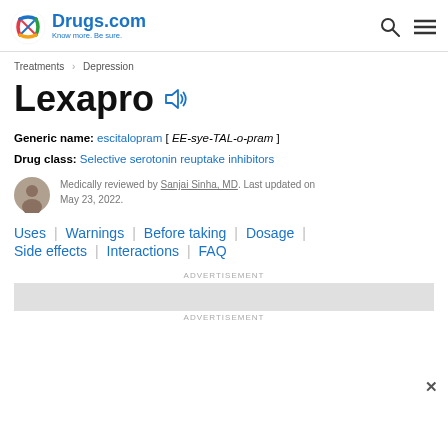Drugs.com — Know more. Be sure.
Treatments > Depression
Lexapro
Generic name: escitalopram [ EE-sye-TAL-o-pram ]
Drug class: Selective serotonin reuptake inhibitors
Medically reviewed by Sanjai Sinha, MD. Last updated on May 23, 2022.
Uses | Warnings | Before taking | Dosage | Side effects | Interactions | FAQ
ADVERTISEMENT